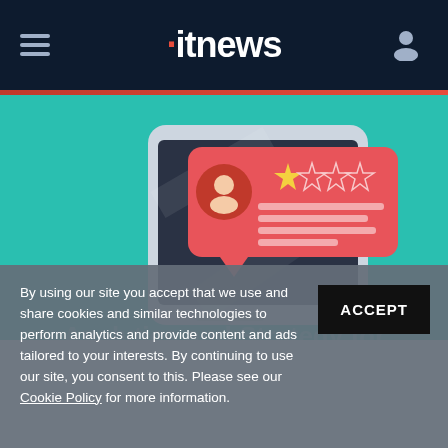itnews
[Figure (illustration): Smartphone with a pink/red review notification popup showing a user avatar, one gold star rating, and text lines on a teal background]
By using our site you accept that we use and share cookies and similar technologies to perform analytics and provide content and ads tailored to your interests. By continuing to use our site, you consent to this. Please see our Cookie Policy for more information.